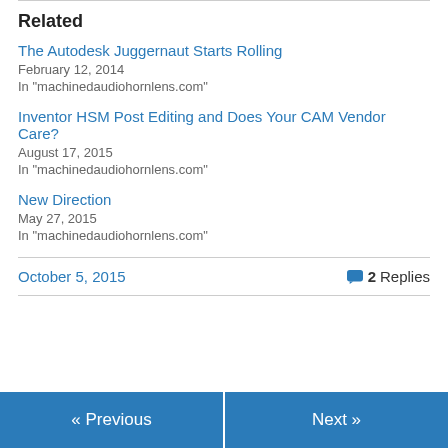Related
The Autodesk Juggernaut Starts Rolling
February 12, 2014
In "machinedaudiohornlens.com"
Inventor HSM Post Editing and Does Your CAM Vendor Care?
August 17, 2015
In "machinedaudiohornlens.com"
New Direction
May 27, 2015
In "machinedaudiohornlens.com"
October 5, 2015   2 Replies
« Previous   Next »